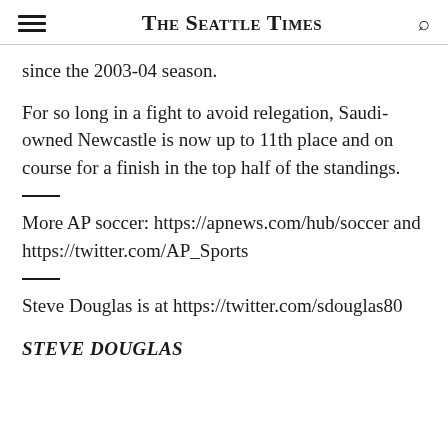The Seattle Times
since the 2003-04 season.
For so long in a fight to avoid relegation, Saudi-owned Newcastle is now up to 11th place and on course for a finish in the top half of the standings.
More AP soccer: https://apnews.com/hub/soccer and https://twitter.com/AP_Sports
Steve Douglas is at https://twitter.com/sdouglas80
STEVE DOUGLAS